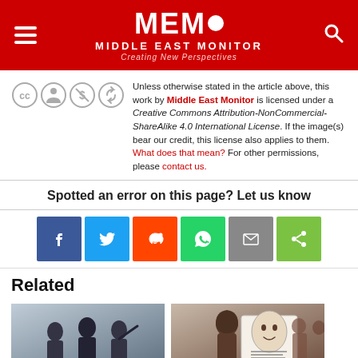MEMO MIDDLE EAST MONITOR Creating New Perspectives
Unless otherwise stated in the article above, this work by Middle East Monitor is licensed under a Creative Commons Attribution-NonCommercial-ShareAlike 4.0 International License. If the image(s) bear our credit, this license also applies to them. What does that mean? For other permissions, please contact us.
Spotted an error on this page? Let us know
[Figure (infographic): Social share buttons: Facebook, Twitter, Reddit, WhatsApp, Email, Share]
Related
[Figure (photo): Two photos of news-related content below the Related heading]